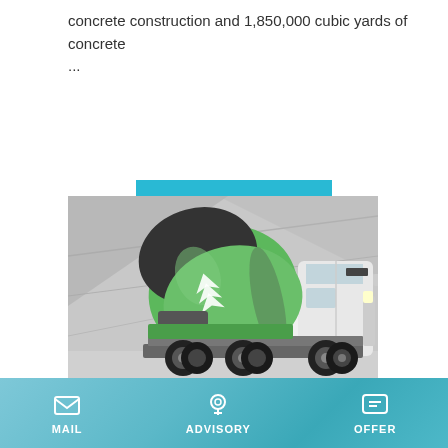concrete construction and 1,850,000 cubic yards of concrete ...
Learn More
[Figure (photo): Green and white concrete mixer truck parked in front of a concrete wall background]
Concrete Leveling & Foundation Repair | Nationwide
A-1 Concrete Leveling Solutions. Lifting concrete slabs with a li...
MAIL  ADVISORY  OFFER